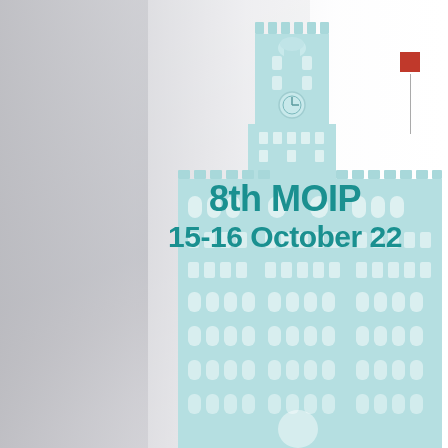[Figure (illustration): Cover page illustration showing a stylized light blue/teal building (Palazzo Vecchio, Florence) centered on the right half of the page, overlaid on a faded grayscale aerial night photo of Florence on the left. A small red square logo mark with a vertical gray line appears in the top right corner.]
8th MOIP
15-16 October 22